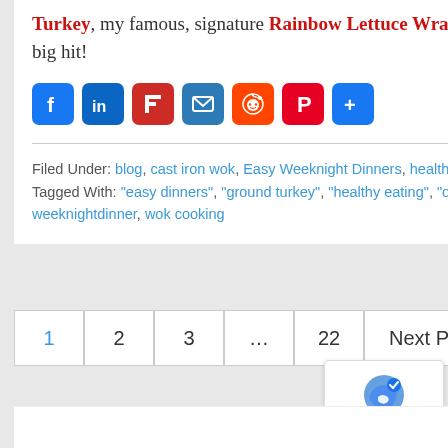Turkey, my famous, signature Rainbow Lettuce Wrap Appetizer I make this in my cooking class and is a big hit!
[Figure (infographic): Row of social media sharing icons: Facebook, LinkedIn, Flipboard, Email, Reddit, Pinterest, Share]
Filed Under: blog, cast iron wok, Easy Weeknight Dinners, healthy eating, wok cooking
Tagged With: "easy dinners", "ground turkey", "healthy eating", "one dish meals", "spicy dish", cast iron wok, stir fry, weeknightdinner, wok cooking
1  2  3  …  22  Next Page »